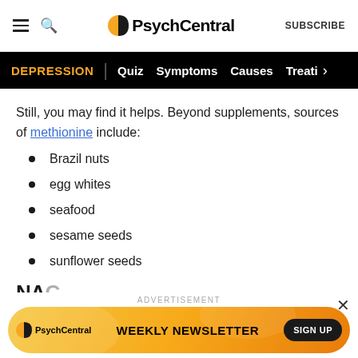PsychCentral | SUBSCRIBE
DEPRESSION | Quiz  Symptoms  Causes  Treatm >
Still, you may find it helps. Beyond supplements, sources of methionine include:
Brazil nuts
egg whites
seafood
sesame seeds
sunflower seeds
NA...
[Figure (infographic): PsychCentral Weekly Newsletter advertisement banner with SIGN UP button on orange/golden swirl background]